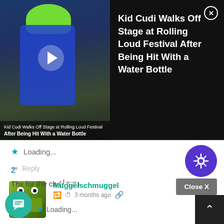[Figure (screenshot): Video thumbnail showing Kid Cudi with green hair at what appears to be a red carpet event, overlaid with article title text and play button]
Kid Cudi Walks Off Stage at Rolling Loud Festival After Being Hit With a Water Bottle
Loading...
Reply
Muggelschmuggel  3 months ago
I guess with that crew now it will end as a good movie and not some trash :3
2
Thx for the ch (╯°□°）
Loading...